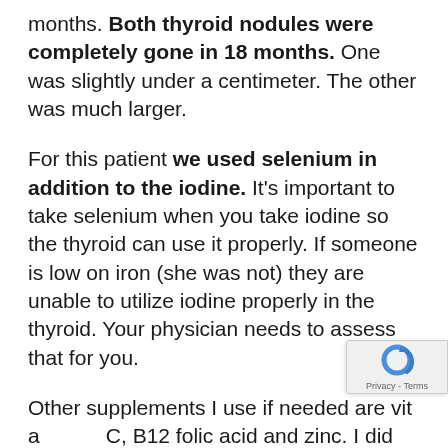months. Both thyroid nodules were completely gone in 18 months. One was slightly under a centimeter. The other was much larger.
For this patient we used selenium in addition to the iodine. It's important to take selenium when you take iodine so the thyroid can use it properly. If someone is low on iron (she was not) they are unable to utilize iodine properly in the thyroid. Your physician needs to assess that for you.
Other supplements I use if needed are vita... C, B12 folic acid and zinc. I did use these w... this patient. N-Acetyl Cysteine can also be very...